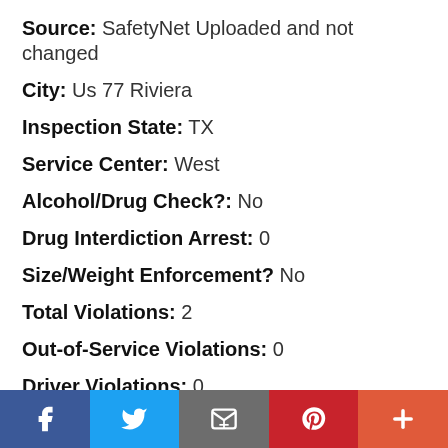Source: SafetyNet Uploaded and not changed
City: Us 77 Riviera
Inspection State: TX
Service Center: West
Alcohol/Drug Check?: No
Drug Interdiction Arrest: 0
Size/Weight Enforcement? No
Total Violations: 2
Out-of-Service Violations: 0
Driver Violations: 0
Driver Out-of-Service Violations: 0
Vehicle Violations: 2
OOS Vehicle Violations: 0